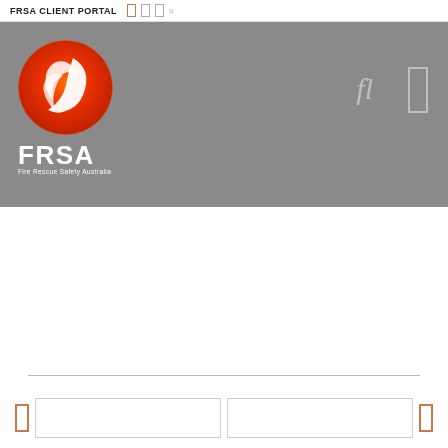FRSA CLIENT PORTAL
[Figure (logo): FRSA Fire Rescue Safety Australia logo — orange/red flame circle with white swoosh, white bold FRSA wordmark, tagline Fire Rescue Safety Australia on gray background]